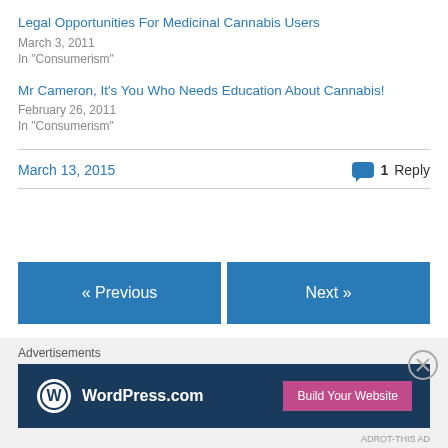Legal Opportunities For Medicinal Cannabis Users
March 3, 2011
In "Consumerism"
Mr Cameron, It's You Who Needs Education About Cannabis!
February 26, 2011
In "Consumerism"
March 13, 2015 | 1 Reply
« Previous
Next »
Leave a Reply
[Figure (screenshot): WordPress.com advertisement banner with logo and 'Build Your Website' button on dark navy background]
Advertisements